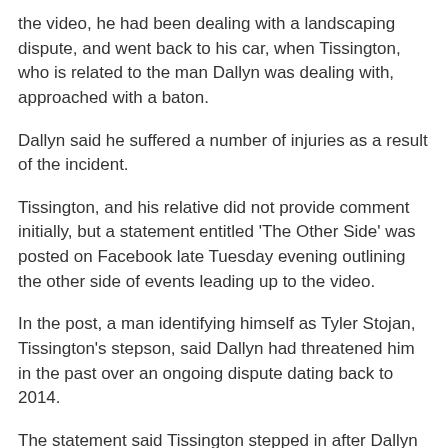the video, he had been dealing with a landscaping dispute, and went back to his car, when Tissington, who is related to the man Dallyn was dealing with, approached with a baton.
Dallyn said he suffered a number of injuries as a result of the incident.
Tissington, and his relative did not provide comment initially, but a statement entitled 'The Other Side' was posted on Facebook late Tuesday evening outlining the other side of events leading up to the video.
In the post, a man identifying himself as Tyler Stojan, Tissington's stepson, said Dallyn had threatened him in the past over an ongoing dispute dating back to 2014.
The statement said Tissington stepped in after Dallyn stopped by the family home.